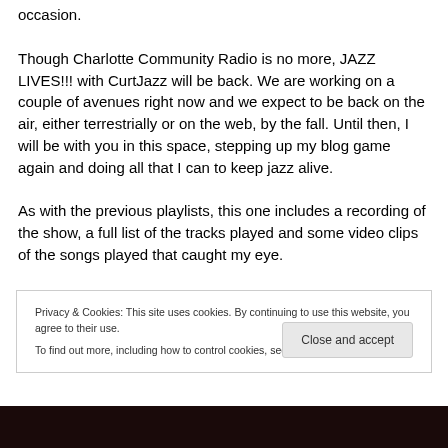occasion.
Though Charlotte Community Radio is no more, JAZZ LIVES!!! with CurtJazz will be back. We are working on a couple of avenues right now and we expect to be back on the air, either terrestrially or on the web, by the fall. Until then, I will be with you in this space, stepping up my blog game again and doing all that I can to keep jazz alive.
As with the previous playlists, this one includes a recording of the show, a full list of the tracks played and some video clips of the songs played that caught my eye.
Privacy & Cookies: This site uses cookies. By continuing to use this website, you agree to their use.
To find out more, including how to control cookies, see here: Cookie Policy
[Figure (photo): Dark photo strip at the bottom of the page]